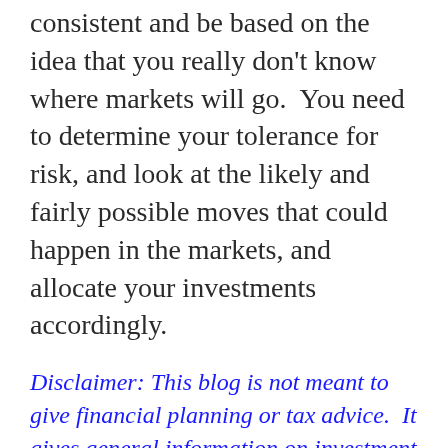consistent and be based on the idea that you really don't know where markets will go. You need to determine your tolerance for risk, and look at the likely and fairly possible moves that could happen in the markets, and allocate your investments accordingly.
Disclaimer: This blog is not meant to give financial planning or tax advice. It gives general information on investment strategy, picking stocks, and generally managing money to build wealth. It is not a solicitation to buy or sell stocks or any security. Financial planning advice should be sought from a certified financial planner, which the author is not.